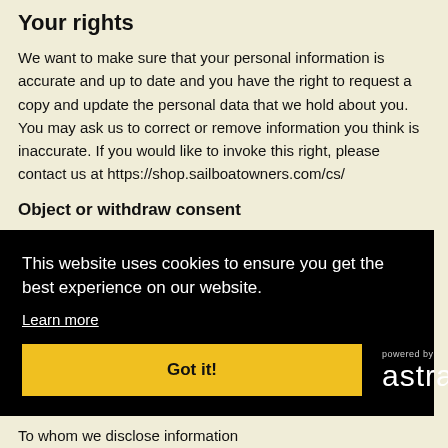Your rights
We want to make sure that your personal information is accurate and up to date and you have the right to request a copy and update the personal data that we hold about you. You may ask us to correct or remove information you think is inaccurate. If you would like to invoke this right, please contact us at https://shop.sailboatowners.com/cs/
Object or withdraw consent
[Figure (screenshot): Cookie consent banner overlay with black background. Contains text 'This website uses cookies to ensure you get the best experience on our website.' with 'Learn more' underlined link, a yellow 'Got it!' button, and 'powered by astra' logo on the right.]
To whom we disclose information